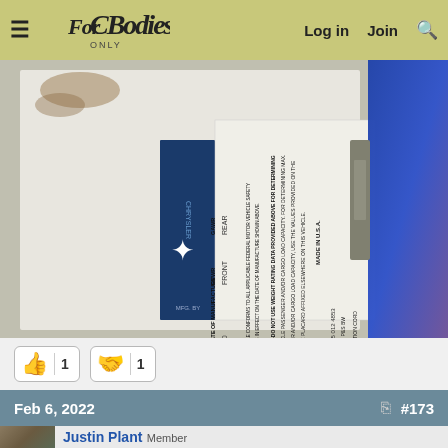For C Bodies Only Classic Mopar Forum — Log in | Join | Search
[Figure (photo): Close-up photo of a Chrysler vehicle door jamb sticker showing manufacturing data, GVWR, GAWR front and rear values, date of manufacture, and safety compliance text. The sticker has a blue Chrysler logo section on the left and white text sections. Vehicle interior blue seat visible on the right.]
👍 1  🤝 1
Feb 6, 2022  #173
Justin Plant
Member